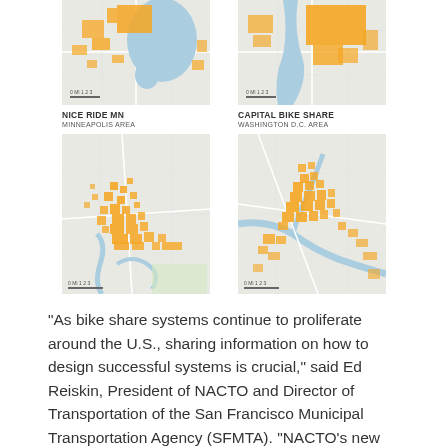[Figure (map): Map of Nice Ride MN bike share stations in Minneapolis area, showing orange clusters on a light map background with water bodies in blue]
[Figure (map): Map of Capital Bike Share stations in Washington D.C. area, showing orange clusters on a light map background with water bodies in blue]
NICE RIDE MN
MINNEAPOLIS AREA
CAPITAL BIKE SHARE
WASHINGTON D.C. AREA
[Figure (map): Larger map of Nice Ride MN bike share stations in Minneapolis area, showing scattered orange dots across the metro area]
[Figure (map): Larger map of Capital Bike Share stations in Washington D.C. area, showing dense orange clusters in central D.C. near the Potomac River]
“As bike share systems continue to proliferate around the U.S., sharing information on how to design successful systems is crucial,” said Ed Reiskin, President of NACTO and Director of Transportation of the San Francisco Municipal Transportation Agency (SFMTA). “NACTO’s new Bike Share Program guidelines should be